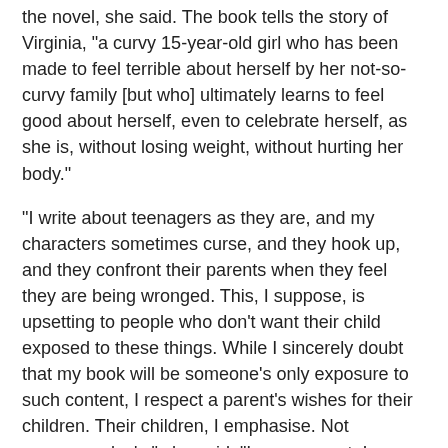the novel, she said. The book tells the story of Virginia, "a curvy 15-year-old girl who has been made to feel terrible about herself by her not-so-curvy family [but who] ultimately learns to feel good about herself, even to celebrate herself, as she is, without losing weight, without hurting her body."
"I write about teenagers as they are, and my characters sometimes curse, and they hook up, and they confront their parents when they feel they are being wronged. This, I suppose, is upsetting to people who don't want their child exposed to these things. While I sincerely doubt that my book will be someone's only exposure to such content, I respect a parent's wishes for their children. Their children, I emphasise. Not everyone else's," she said. "I am a parent. I closely follow the books that my son reads. If a book is scaring him, we talk about it. If a book doesn't seem appropriate for him, I tuck it away and suggest he wait a few years. I have a good